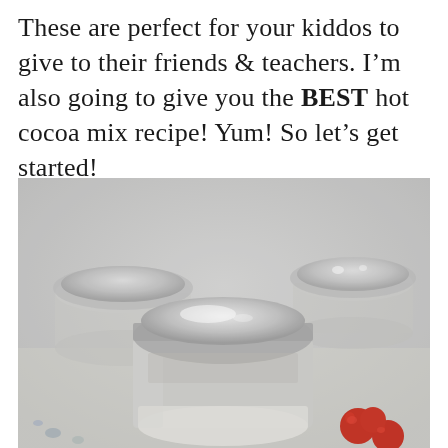These are perfect for your kiddos to give to their friends & teachers. I'm also going to give you the BEST hot cocoa mix recipe! Yum! So let's get started!
[Figure (photo): Close-up photo of several small glass mason jars with silver metal lids containing white powder (hot cocoa mix), arranged on a light surface with red berries visible in the lower right corner.]